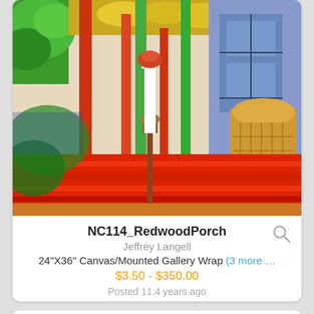[Figure (photo): Colorful digital painting of a redwood porch with red steps, green railings, wicker chair, and ornate decorations]
NC114_RedwoodPorch
Jeffrey Langell
24"X36" Canvas/Mounted Gallery Wrap (3 more …
$3.50 - $350.00
Posted 11.4 years ago
[Figure (photo): Partial view of a second artwork card showing a black structure against a light blue/white background]